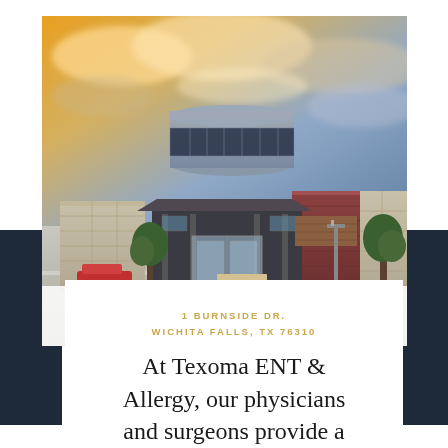[Figure (photo): Exterior photo of a modern medical building with a cylindrical drum-shaped upper floor clad in metal, brick and stone facade, glass entrance, parking area, trees, and a dramatic sunset sky with golden and blue clouds.]
1 BURNSIDE DR.
WICHITA FALLS, TX 76310
At Texoma ENT & Allergy, our physicians and surgeons provide a full spectrum of